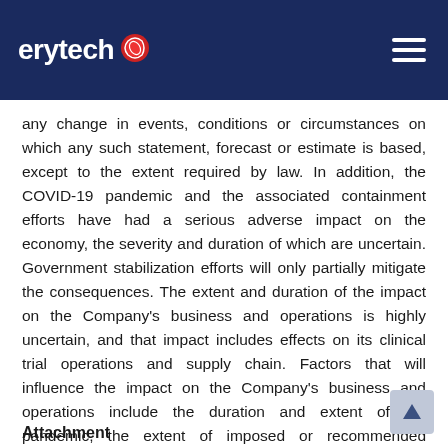erytech
any change in events, conditions or circumstances on which any such statement, forecast or estimate is based, except to the extent required by law. In addition, the COVID-19 pandemic and the associated containment efforts have had a serious adverse impact on the economy, the severity and duration of which are uncertain. Government stabilization efforts will only partially mitigate the consequences. The extent and duration of the impact on the Company's business and operations is highly uncertain, and that impact includes effects on its clinical trial operations and supply chain. Factors that will influence the impact on the Company's business and operations include the duration and extent of the pandemic, the extent of imposed or recommended containment and mitigation measures, and the general economic consequences of the pandemic. The pandemic could have a material adverse impact on the Company's business, operations and financial results for an extended period of time.
Attachment